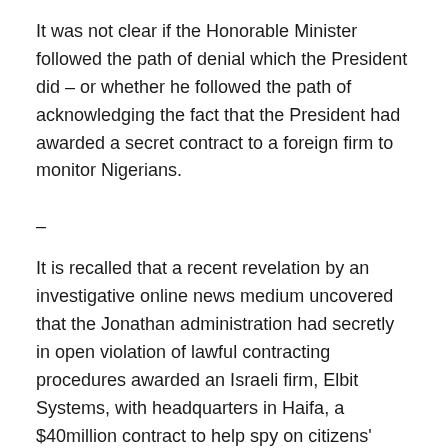It was not clear if the Honorable Minister followed the path of denial which the President did – or whether he followed the path of acknowledging the fact that the President had awarded a secret contract to a foreign firm to monitor Nigerians.
–
It is recalled that a recent revelation by an investigative online news medium uncovered that the Jonathan administration had secretly in open violation of lawful contracting procedures awarded an Israeli firm, Elbit Systems, with headquarters in Haifa, a $40million contract to help spy on citizens' computers and Internet communications under the guise of intelligence gathering and national security. Sources indicate that the contract will enable the Jonathan administration access all